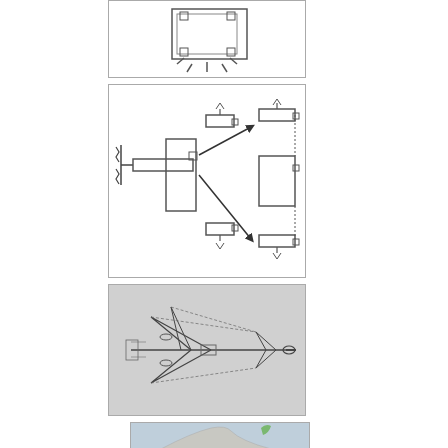[Figure (engineering-diagram): Engineering diagram (top, partially visible) showing aircraft or mechanical component with hatching and bolts]
[Figure (engineering-diagram): Schematic diagram of twin-plane aircraft layout showing two asymmetric configurations with arrows indicating transformation, propellers and wing blocks shown as rectangles]
(2011/10/21st) 7g/ US2,479,655 of 194... aircraft for safe flyin... engined) twin-plane... two asymmetric (mo... planes, with safe m... still-working half.
[Figure (engineering-diagram): Top-down sketch of an asymmetric jet aircraft layout on gray background, showing delta wing configuration with canards]
(2011/10/22nd) 12x... US3,881,671 of J. B... an asymmetric layo... simplified sketch to... an intermediate step...
[Figure (photo): Photograph of a metallic/silver wing or blade shape against a blue-gray sky, with a green element visible]